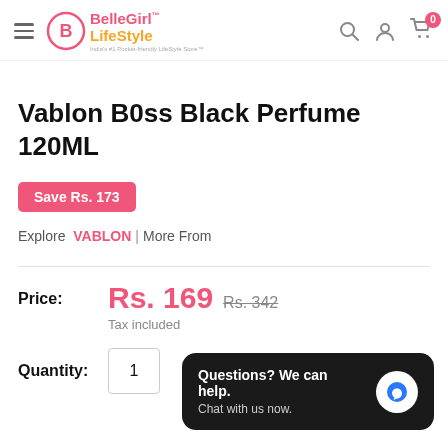BelleGirl™ LifeStyle — India's #1 Pocket-friendly LifeStyle Store™
Vablon B0ss Black Perfume 120ML
Save Rs. 173
Explore VABLON | More From
Price: Rs. 169  Rs. 342  Tax included
Quantity: 1
Questions? We can help. Chat with us now.